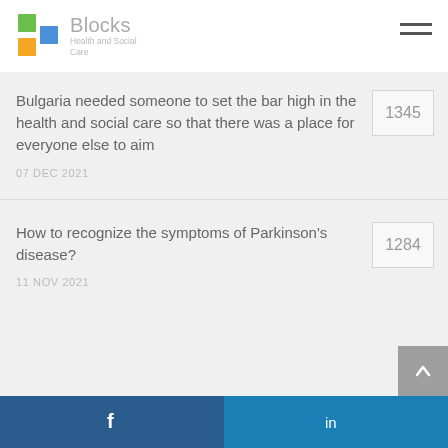Blocks Health and Social Care
Bulgaria needed someone to set the bar high in the health and social care so that there was a place for everyone else to aim
07 DEC 2021
1345
How to recognize the symptoms of Parkinson's disease?
11 NOV 2021
1284
Facebook LinkedIn